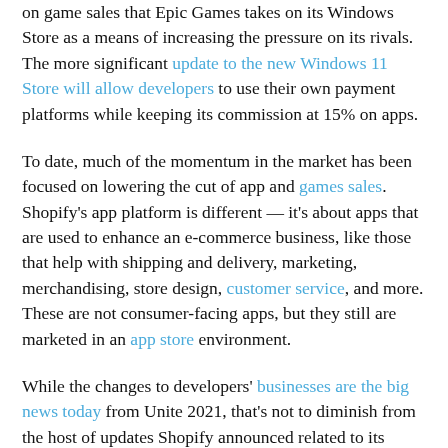on game sales that Epic Games takes on its Windows Store as a means of increasing the pressure on its rivals. The more significant update to the new Windows 11 Store will allow developers to use their own payment platforms while keeping its commission at 15% on apps.
To date, much of the momentum in the market has been focused on lowering the cut of app and games sales. Shopify's app platform is different — it's about apps that are used to enhance an e-commerce business, like those that help with shipping and delivery, marketing, merchandising, store design, customer service, and more. These are not consumer-facing apps, but they still are marketed in an app store environment.
While the changes to developers' businesses are the big news today from Unite 2021, that's not to diminish from the host of updates Shopify announced related to its larger platform. Among the updates is the debut of Online Store 2.0, a more flexible and customizable update to Shopify's Liquid platform (its templating language), which